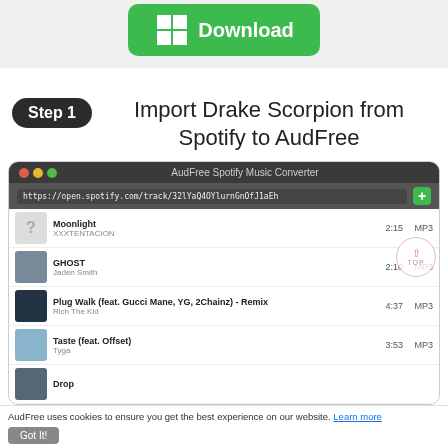[Figure (screenshot): Green Download button with Windows logo icon on gray background]
Step 1   Import Drake Scorpion from Spotify to AudFree
[Figure (screenshot): AudFree Spotify Music Converter application window showing a list of tracks: Moonlight by XXXTENTACION (2:15, MP3), GHOST by Jaden Smith (2:10, MP3), Plug Walk (feat. Gucci Mane, YG, 2Chainz) - Remix by Rich The Kid (4:37, MP3), Taste (feat. Offset) by Tyga (3:53, MP3), Drop (partially visible)]
AudFree uses cookies to ensure you get the best experience on our website. Learn more Got It!